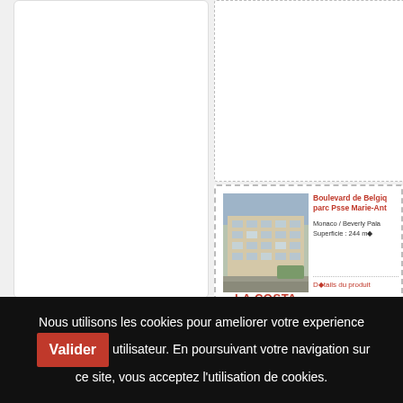[Figure (photo): Partial view of a real estate listing card on the left side (cropped white panel)]
[Figure (screenshot): Real estate listing card for Boulevard de Belgique / parc Psse Marie-Antoinette, Monaco / Beverly Palace, Superficie 244 m², with building photo and La Costa Properties Monaco logo]
Boulevard de Belgique / parc Psse Marie-Antoinette
Monaco / Beverly Palace
Superficie : 244 m²
Détails du produit
[Figure (logo): LA COSTA PROPERTIES MONACO logo in red]
Nous utilisons les cookies pour ameliorer votre experience utilisateur. En poursuivant votre navigation sur ce site, vous acceptez l'utilisation de cookies.